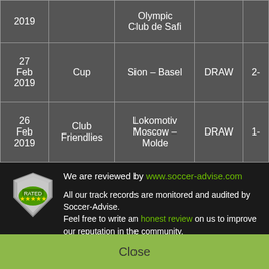| Date | Competition | Match | Result | Score |
| --- | --- | --- | --- | --- |
| 2019 |  | Olympic Club de Safi |  |  |
| 27 Feb 2019 | Cup | Sion - Basel | DRAW | 2- |
| 26 Feb 2019 | Club Friendlies | Lokomotiv Moscow - Molde | DRAW | 1- |
We are reviewed by www.soccer-advise.com. All our track records are monitored and audited by Soccer-Advise. Feel free to write an honest review on us to improve our reputation in the community.
Close